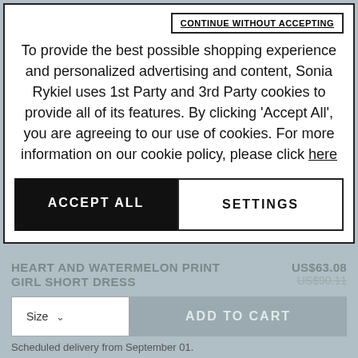CONTINUE WITHOUT ACCEPTING
To provide the best possible shopping experience and personalized advertising and content, Sonia Rykiel uses 1st Party and 3rd Party cookies to provide all of its features. By clicking 'Accept All', you are agreeing to our use of cookies. For more information on our cookie policy, please click here
ACCEPT ALL
SETTINGS
HEART AND WATERMELON PRINT GIRL SHORT DRESS
US$63.08
US$90.11
Size
ADD TO CART
Scheduled delivery from September 01.